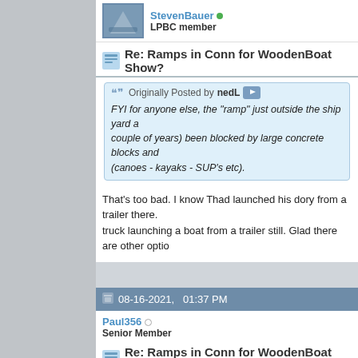StevenBauer (online) — LPBC member
Re: Ramps in Conn for WoodenBoat Show?
Originally Posted by nedL — FYI for anyone else, the "ramp" just outside the ship yard a couple of years) been blocked by large concrete blocks and (canoes - kayaks - SUP's etc).
That's too bad. I know Thad launched his dory from a trailer there. truck launching a boat from a trailer still. Glad there are other optio
08-16-2021,   01:37 PM
Paul356 (offline) — Senior Member
Re: Ramps in Conn for WoodenBoat Show?
I came across the info below on CT boat launches the other day, s the FAQ in the CT launches info online. So, free ramps, free overni